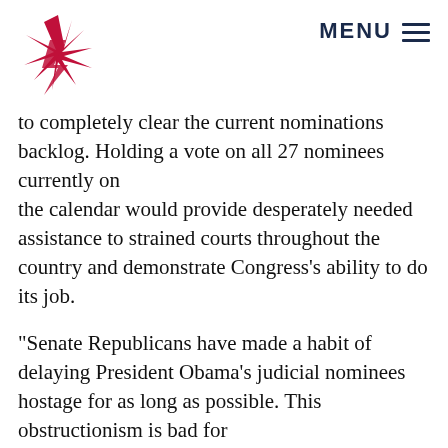MENU
to completely clear the current nominations backlog. Holding a vote on all 27 nominees currently on the calendar would provide desperately needed assistance to strained courts throughout the country and demonstrate Congress’s ability to do its job.
“Senate Republicans have made a habit of delaying President Obama’s judicial nominees hostage for as long as possible. This obstructionism is bad for the American people, who depend on both an efficient justice system and an effective legislature. It’s time for the Senate to do its job and hold votes